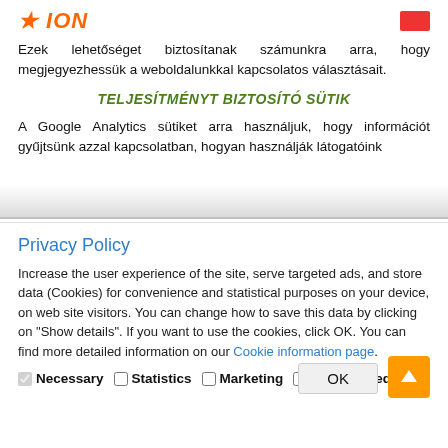ION logo and icon
Ezek lehetőséget biztosítanak számunkra arra, hogy megjegyezhessük a weboldalunkkal kapcsolatos választásait.
TELJESÍTMÉNYT BIZTOSÍTÓ SÜTIK
A Google Analytics sütiket arra használjuk, hogy információt gyűjtsünk azzal kapcsolatban, hogyan használják látogatóink
Privacy Policy
Increase the user experience of the site, serve targeted ads, and store data (Cookies) for convenience and statistical purposes on your device, on web site visitors. You can change how to save this data by clicking on "Show details". If you want to use the cookies, click OK. You can find more detailed information on our Cookie information page.
☑ Necessary  ☐ Statistics  ☐ Marketing  ☐ Unclassified